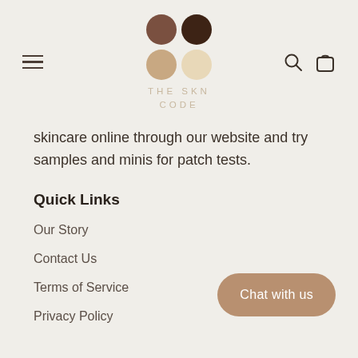[Figure (logo): The SKN Code logo: four colored circles in a 2x2 grid (dark brown, very dark brown, tan, light cream) above the text THE SKN CODE]
skincare online through our website and try samples and minis for patch tests.
Quick Links
Our Story
Contact Us
Terms of Service
Privacy Policy
Chat with us